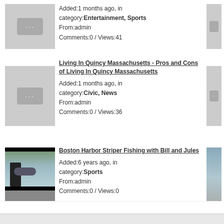Added:1 months ago, in category:Entertainment, Sports From:admin Comments:0 / Views:41
Living In Quincy Massachusetts - Pros and Cons of Living In Quincy Massachusetts Added:1 months ago, in category:Civic, News From:admin Comments:0 / Views:36
Boston Harbor Striper Fishing with Bill and Jules Added:6 years ago, in category:Sports From:admin Comments:0 / Views:0